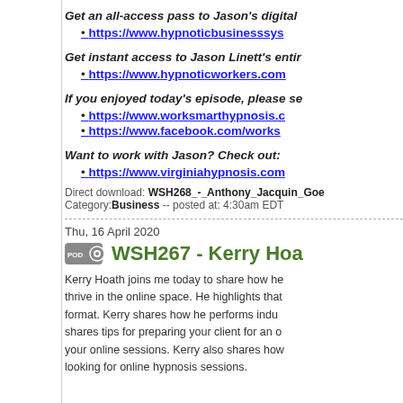Get an all-access pass to Jason's digital
https://www.hypnoticbusinesssys
Get instant access to Jason Linett's entir
https://www.hypnoticworkers.com
If you enjoyed today's episode, please se
https://www.worksmarthypnosis.c
https://www.facebook.com/works
Want to work with Jason? Check out:
https://www.virginiahypnosis.com
Direct download: WSH268_-_Anthony_Jacquin_Goe
Category:Business -- posted at: 4:30am EDT
Thu, 16 April 2020
WSH267 - Kerry Hoa
Kerry Hoath joins me today to share how he thrive in the online space. He highlights that format. Kerry shares how he performs indu shares tips for preparing your client for an o your online sessions. Kerry also shares how looking for online hypnosis sessions.